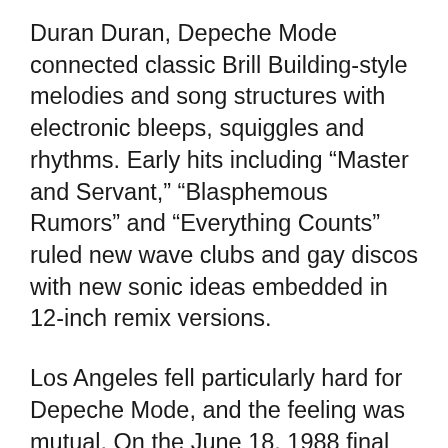Duran Duran, Depeche Mode connected classic Brill Building-style melodies and song structures with electronic bleeps, squiggles and rhythms. Early hits including “Master and Servant,” “Blasphemous Rumors” and “Everything Counts” ruled new wave clubs and gay discos with new sonic ideas embedded in 12-inch remix versions.
Los Angeles fell particularly hard for Depeche Mode, and the feeling was mutual. On the June 18, 1988 final show of their music for the Masses tour, the band sold out the Rose Bowl in Pasadena, a feat documented for the 1989 live album and DA Pennebaker-directed documentary “101.”